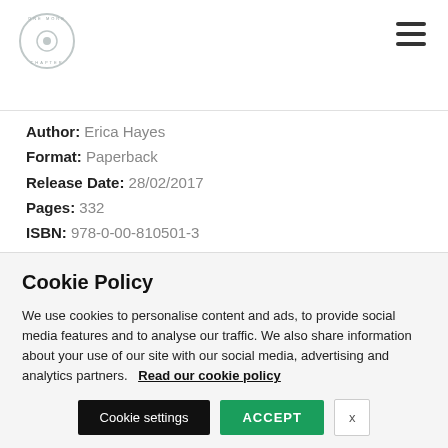[Figure (logo): Circular logo with text around edge, light grey/white design]
Author: Erica Hayes
Format: Paperback
Release Date: 28/02/2017
Pages: 332
ISBN: 978-0-00-810501-3
Cookie Policy
We use cookies to personalise content and ads, to provide social media features and to analyse our traffic. We also share information about your use of our site with our social media, advertising and analytics partners.   Read our cookie policy
Cookie settings   ACCEPT   x